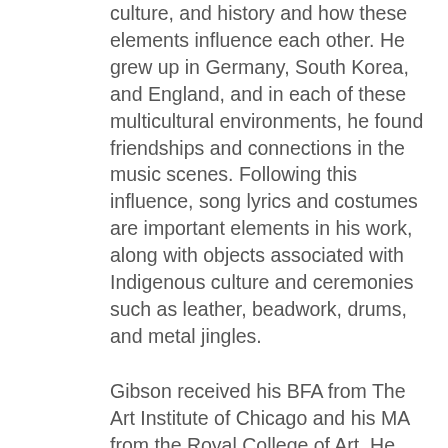culture, and history and how these elements influence each other. He grew up in Germany, South Korea, and England, and in each of these multicultural environments, he found friendships and connections in the music scenes. Following this influence, song lyrics and costumes are important elements in his work, along with objects associated with Indigenous culture and ceremonies such as leather, beadwork, drums, and metal jingles.
Gibson received his BFA from The Art Institute of Chicago and his MA from the Royal College of Art. He was also awarded an Honorary Doctorate from Claremont Graduate University in 2016. Gibson has received distinguished awards from the Joan Mitchell Foundation, National Museum of the American Indian (Smithsonian Institution), TED Foundation, and the Jerome Hill